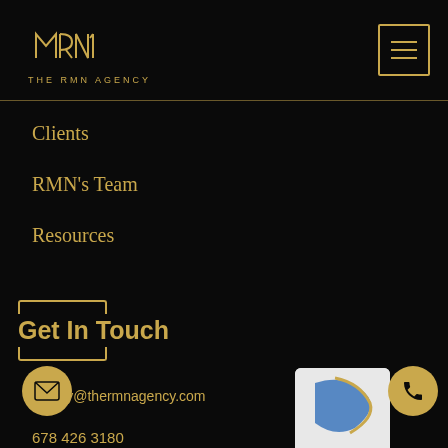[Figure (logo): The RMN Agency logo — geometric gold lettermark with text 'THE RMN AGENCY' below]
[Figure (other): Gold hamburger menu button with three horizontal lines in a gold-bordered square]
Clients
RMN's Team
Resources
Get In Touch
inquiry@thermnagency.com
678 426 3180